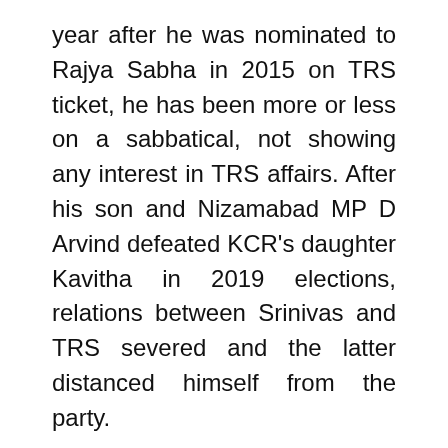year after he was nominated to Rajya Sabha in 2015 on TRS ticket, he has been more or less on a sabbatical, not showing any interest in TRS affairs. After his son and Nizamabad MP D Arvind defeated KCR's daughter Kavitha in 2019 elections, relations between Srinivas and TRS severed and the latter distanced himself from the party.
It is more or less confirmed that Srinvas will be joining back Congress today as the Congress Legislative Party leader Bhatti Vikramarka received a call from top leadership of Congress to visit Delhi today.